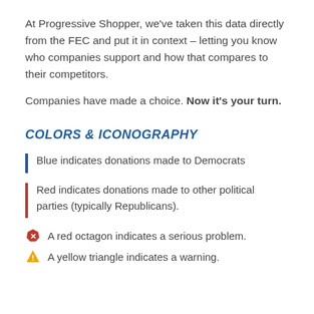At Progressive Shopper, we've taken this data directly from the FEC and put it in context – letting you know who companies support and how that compares to their competitors.
Companies have made a choice. Now it's your turn.
COLORS & ICONOGRAPHY
Blue indicates donations made to Democrats
Red indicates donations made to other political parties (typically Republicans).
A red octagon indicates a serious problem.
A yellow triangle indicates a warning.